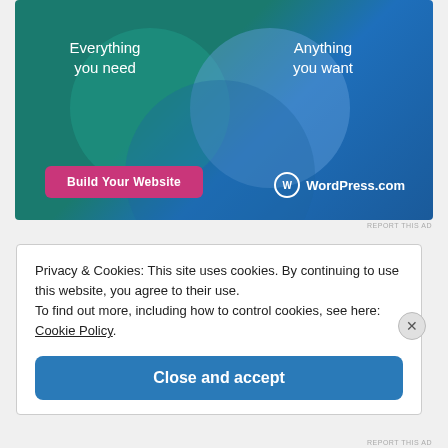[Figure (illustration): WordPress.com advertisement banner showing two overlapping circles (Venn diagram) on a teal-to-blue gradient background. Left circle area labeled 'Everything you need', right circle area labeled 'Anything you want'. A pink 'Build Your Website' button and the WordPress.com logo appear at the bottom.]
REPORT THIS AD
Privacy & Cookies: This site uses cookies. By continuing to use this website, you agree to their use.
To find out more, including how to control cookies, see here: Cookie Policy.
Close and accept